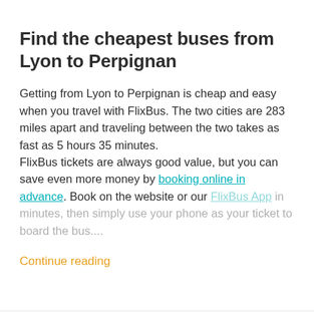Find the cheapest buses from Lyon to Perpignan
Getting from Lyon to Perpignan is cheap and easy when you travel with FlixBus. The two cities are 283 miles apart and traveling between the two takes as fast as 5 hours 35 minutes.
FlixBus tickets are always good value, but you can save even more money by booking online in advance. Book on the website or our FlixBus App in minutes, then simply use your phone as your ticket to board the bus....
Continue reading
Discover more popular bus connections